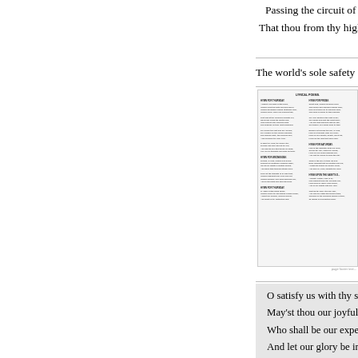Passing the circuit of the y...
That thou from thy high Fat...
The world's sole safety didst app...
[Figure (screenshot): Thumbnail image of a printed hymn book page with two columns of text, showing multiple hymn sections with headings and verses in small print.]
O satisfy us with thy sight! We...
May'st thou our joyful pleasur...
Who shall be our expected gai...
And let our glory be in thee, N...
While any ages shall remain. G...
Whom the unspotted Virgin bore...
HYMN FOR WHITSUNDAY...
CREATOR, Holy Ghost, desc...